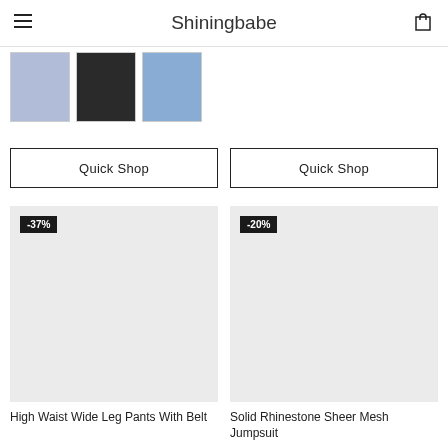Shiningbabe
[Figure (photo): Three thumbnail product images of women's fashion outfits]
Quick Shop
Quick Shop
[Figure (photo): Product image placeholder with -37% badge]
[Figure (photo): Product image placeholder with -20% badge]
High Waist Wide Leg Pants With Belt
Solid Rhinestone Sheer Mesh Jumpsuit